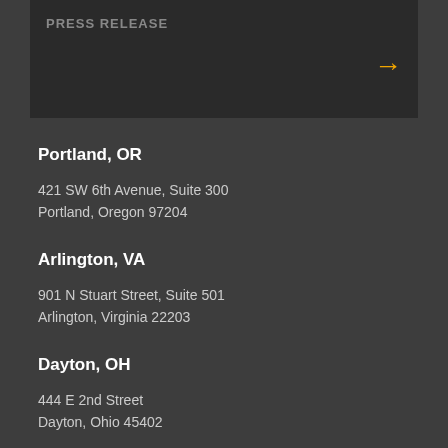PRESS RELEASE
Portland, OR
421 SW 6th Avenue, Suite 300
Portland, Oregon 97204
Arlington, VA
901 N Stuart Street, Suite 501
Arlington, Virginia 22203
Dayton, OH
444 E 2nd Street
Dayton, Ohio 45402
T 503.626.6616
F 503.350.0833